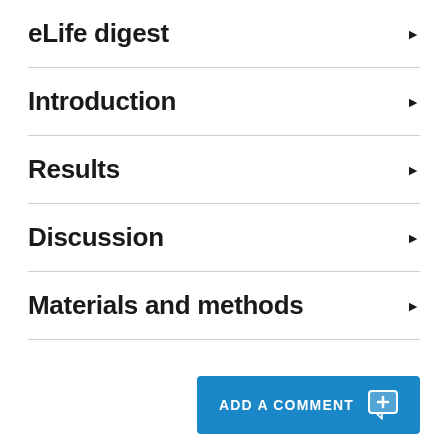eLife digest
Introduction
Results
Discussion
Materials and methods
ADD A COMMENT